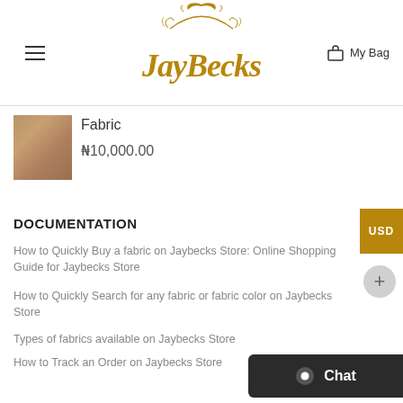JayBecks — My Bag
[Figure (photo): Fabric product thumbnail image — brownish tan woven fabric texture]
Fabric
₦10,000.00
DOCUMENTATION
How to Quickly Buy a fabric on Jaybecks Store: Online Shopping Guide for Jaybecks Store
How to Quickly Search for any fabric or fabric color on Jaybecks Store
Types of fabrics available on Jaybecks Store
How to Track an Order on Jaybecks Store